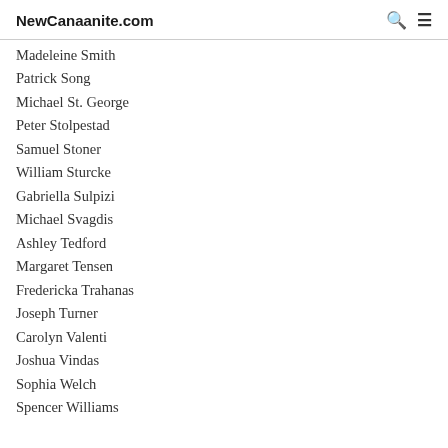NewCanaanite.com
Madeleine Smith
Patrick Song
Michael St. George
Peter Stolpestad
Samuel Stoner
William Sturcke
Gabriella Sulpizi
Michael Svagdis
Ashley Tedford
Margaret Tensen
Fredericka Trahanas
Joseph Turner
Carolyn Valenti
Joshua Vindas
Sophia Welch
Spencer Williams